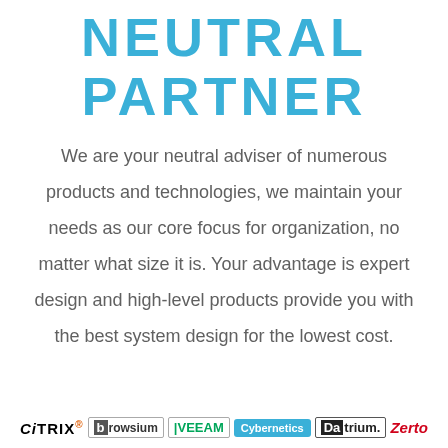NEUTRAL PARTNER
We are your neutral adviser of numerous products and technologies, we maintain your needs as our core focus for organization, no matter what size it is. Your advantage is expert design and high-level products provide you with the best system design for the lowest cost.
[Figure (logo): Row of partner logos: Citrix, Browsium, Veeam, Cybernetics, Datrium, Zerto]